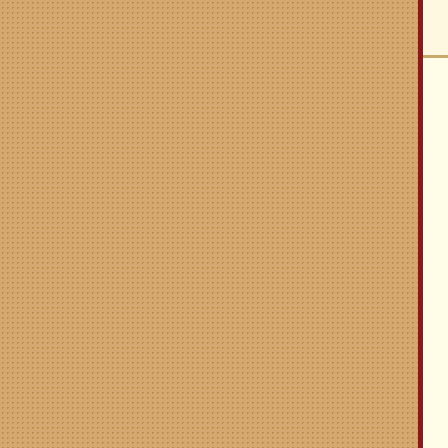Espagne (now Le...)
Société Automo... Far-East Aut... Citroen Bra...
37, Espagne (Spain) Street
Saigon